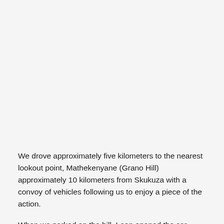We drove approximately five kilometers to the nearest lookout point, Mathekenyane (Grano Hill) approximately 10 kilometers from Skukuza with a convoy of vehicles following us to enjoy a piece of the action.
When we parked on the hill, Leon opened the car bonnet and